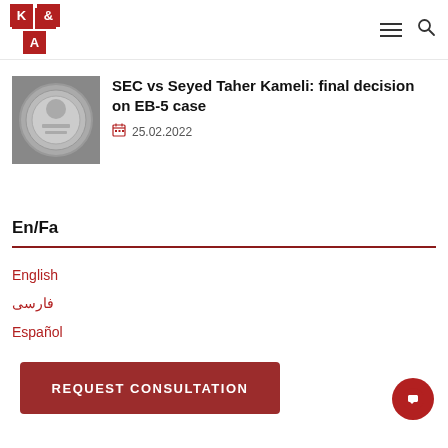K & A — navigation header with logo and menu/search icons
[Figure (photo): Circular silver coin/seal photograph, grayscale]
SEC vs Seyed Taher Kameli: final decision on EB-5 case
25.02.2022
En/Fa
English
فارسی
Español
REQUEST CONSULTATION